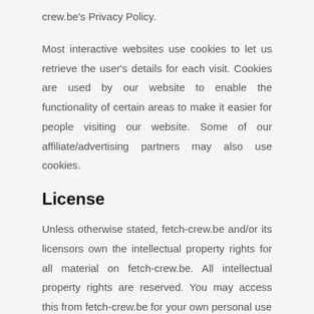crew.be's Privacy Policy.
Most interactive websites use cookies to let us retrieve the user's details for each visit. Cookies are used by our website to enable the functionality of certain areas to make it easier for people visiting our website. Some of our affiliate/advertising partners may also use cookies.
License
Unless otherwise stated, fetch-crew.be and/or its licensors own the intellectual property rights for all material on fetch-crew.be. All intellectual property rights are reserved. You may access this from fetch-crew.be for your own personal use